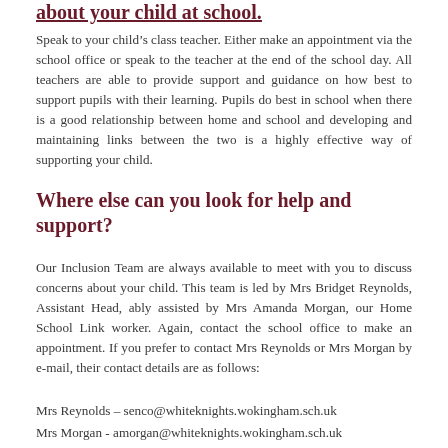about your child at school.
Speak to your child’s class teacher. Either make an appointment via the school office or speak to the teacher at the end of the school day. All teachers are able to provide support and guidance on how best to support pupils with their learning. Pupils do best in school when there is a good relationship between home and school and developing and maintaining links between the two is a highly effective way of supporting your child.
Where else can you look for help and support?
Our Inclusion Team are always available to meet with you to discuss concerns about your child. This team is led by Mrs Bridget Reynolds, Assistant Head, ably assisted by Mrs Amanda Morgan, our Home School Link worker. Again, contact the school office to make an appointment. If you prefer to contact Mrs Reynolds or Mrs Morgan by e-mail, their contact details are as follows:
Mrs Reynolds – senco@whiteknights.wokingham.sch.uk
Mrs Morgan - amorgan@whiteknights.wokingham.sch.uk